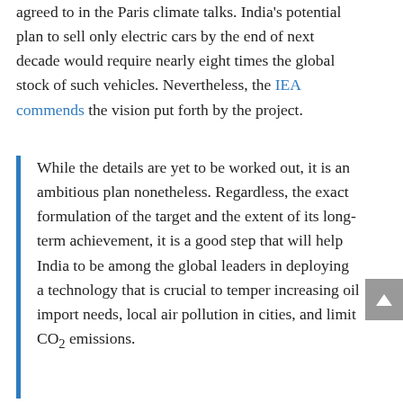agreed to in the Paris climate talks. India's potential plan to sell only electric cars by the end of next decade would require nearly eight times the global stock of such vehicles. Nevertheless, the IEA commends the vision put forth by the project.
While the details are yet to be worked out, it is an ambitious plan nonetheless. Regardless, the exact formulation of the target and the extent of its long-term achievement, it is a good step that will help India to be among the global leaders in deploying a technology that is crucial to temper increasing oil import needs, local air pollution in cities, and limit CO2 emissions.